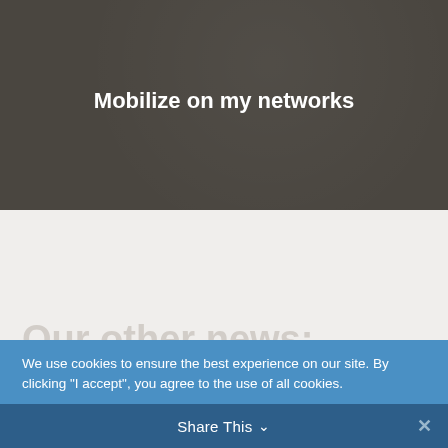Mobilize on my networks
Our other news:
We use cookies to ensure the best experience on our site. By clicking "I accept", you agree to the use of all cookies.
Cookie Settings
J'accepte
Share This ∨